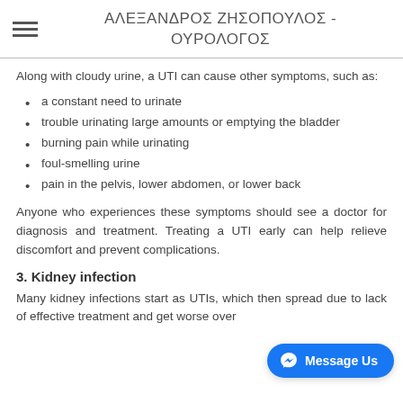ΑΛΕΞΑΝΔΡΟΣ ΖΗΣΟΠΟΥΛΟΣ - ΟΥΡΟΛΟΓΟΣ
Along with cloudy urine, a UTI can cause other symptoms, such as:
a constant need to urinate
trouble urinating large amounts or emptying the bladder
burning pain while urinating
foul-smelling urine
pain in the pelvis, lower abdomen, or lower back
Anyone who experiences these symptoms should see a doctor for diagnosis and treatment. Treating a UTI early can help relieve discomfort and prevent complications.
3. Kidney infection
Many kidney infections start as UTIs, which then spread due to lack of effective treatment and get worse over